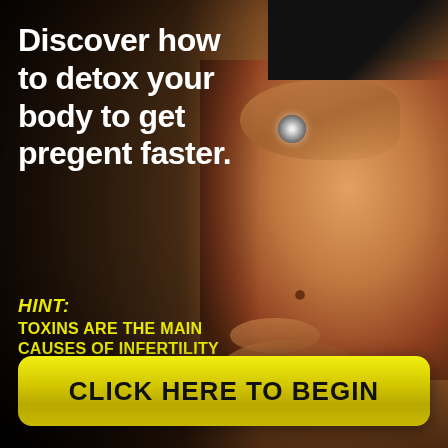[Figure (photo): Close-up photo of a pregnant woman's belly against a dark/black background. Her hands are resting on her bare belly. She wears a decorative ring. The image is dark and dramatic.]
Discover how to detox your body to get pregent faster.
HINT: TOXINS ARE THE MAIN CAUSES OF INFERTILITY
CLICK HERE TO BEGIN